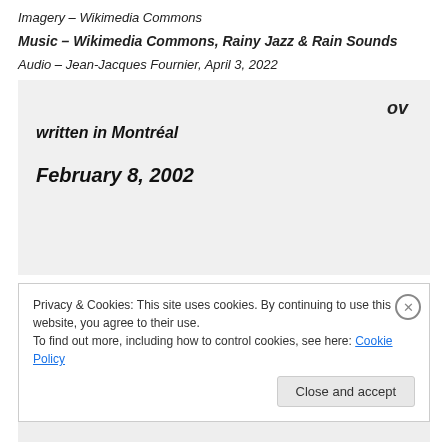Imagery – Wikimedia Commons
Music – Wikimedia Commons, Rainy Jazz & Rain Sounds
Audio – Jean-Jacques Fournier, April 3, 2022
ov
written in Montréal
February 8, 2002
Privacy & Cookies: This site uses cookies. By continuing to use this website, you agree to their use.
To find out more, including how to control cookies, see here: Cookie Policy
Close and accept